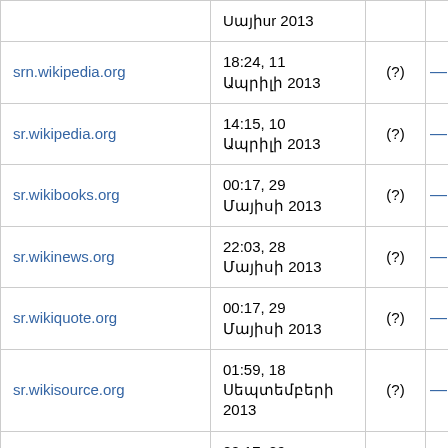|  |  | (?) |  |
| --- | --- | --- | --- |
| srn.wikipedia.org | 18:24, 11 Ապրիլի 2013 | (?) | — |
| sr.wikipedia.org | 14:15, 10 Ապրիլի 2013 | (?) | — |
| sr.wikibooks.org | 00:17, 29 Մայիսի 2013 | (?) | — |
| sr.wikinews.org | 22:03, 28 Մայիսի 2013 | (?) | — |
| sr.wikiquote.org | 00:17, 29 Մայիսի 2013 | (?) | — |
| sr.wikisource.org | 01:59, 18 Սեպտեմբերի 2013 | (?) | — |
| sr.wiktionary.org | 00:17, 29 Մայիսի 2013 | (?) | — |